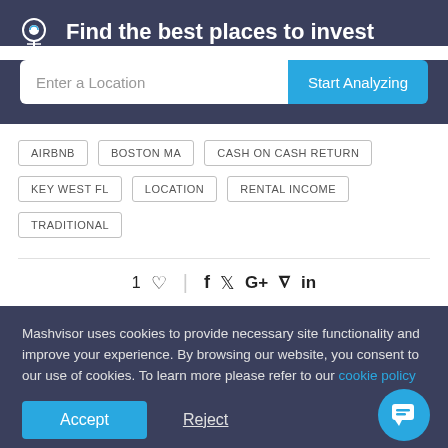Find the best places to invest
[Figure (screenshot): Search bar with 'Enter a Location' placeholder and 'Start Analyzing' button]
AIRBNB
BOSTON MA
CASH ON CASH RETURN
KEY WEST FL
LOCATION
RENTAL INCOME
TRADITIONAL
1 ♡  |  f  𝕥  G+  𝓟  in
Mashvisor uses cookies to provide necessary site functionality and improve your experience. By browsing our website, you consent to our use of cookies. To learn more please refer to our cookie policy
Accept
Reject